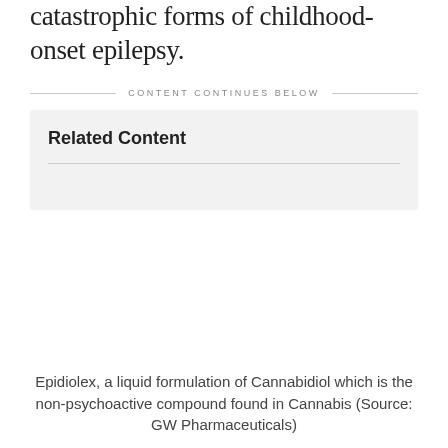catastrophic forms of childhood-onset epilepsy.
CONTENT CONTINUES BELOW
Related Content
Epidiolex, a liquid formulation of Cannabidiol which is the non-psychoactive compound found in Cannabis (Source: GW Pharmaceuticals)